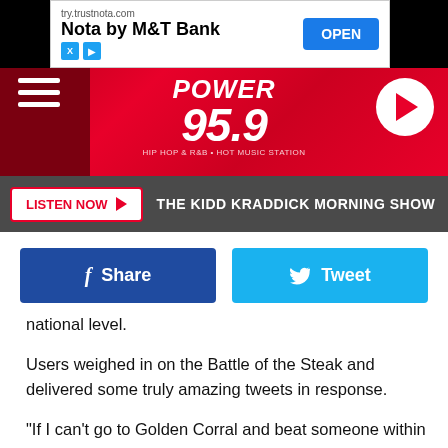[Figure (screenshot): Ad banner for Nota by M&T Bank from try.trustnota.com with OPEN button]
[Figure (logo): Power 95.9 radio station banner with hamburger menu and play button]
[Figure (screenshot): Listen Now button with The Kidd Kraddick Morning Show text on dark bar]
[Figure (screenshot): Facebook Share and Twitter Tweet buttons]
national level.
Users weighed in on the Battle of the Steak and delivered some truly amazing tweets in response.
"If I can't go to Golden Corral and beat someone within an inch of their lives for a cheap steak is [this] even America anymore," someone quipped.
"I promise Golden Corral ain't good enough to be fighting over," another pointed out.